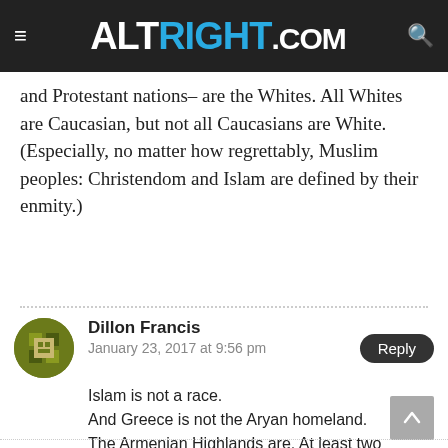ALTRIGHT.COM
and Protestant nations– are the Whites. All Whites are Caucasian, but not all Caucasians are White. (Especially, no matter how regrettably, Muslim peoples: Christendom and Islam are defined by their enmity.)
Dillon Francis
January 23, 2017 at 9:56 pm
Islam is not a race.
And Greece is not the Aryan homeland.
The Armenian Highlands are. At least two theories support this of the original home of the IE aka Aryan peoples.